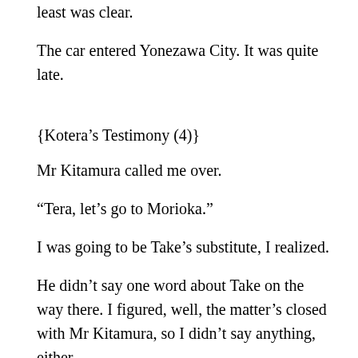least was clear.
The car entered Yonezawa City. It was quite late.
{Kotera’s Testimony (4)}
Mr Kitamura called me over.
“Tera, let’s go to Morioka.”
I was going to be Take’s substitute, I realized.
He didn’t say one word about Take on the way there. I figured, well, the matter’s closed with Mr Kitamura, so I didn’t say anything, either.